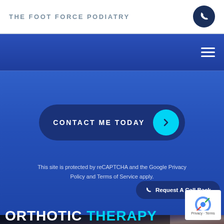THE FOOT FORCE PODIATRY
[Figure (screenshot): Website screenshot showing navigation header with blue phone icon button, dark blue navigation bar with hamburger menu, contact form section with 'CONTACT ME TODAY' button with cyan arrow, reCAPTCHA privacy notice, 'Request A Call Back' button, reCAPTCHA badge, and partial 'ORTHOTIC THERAPY' heading at the bottom over a dark photo background.]
CONTACT ME TODAY
This site is protected by reCAPTCHA and the Google Privacy Policy and Terms of Service apply.
Request A Call Back
Privacy · Terms
ORTHOTIC THERAPY